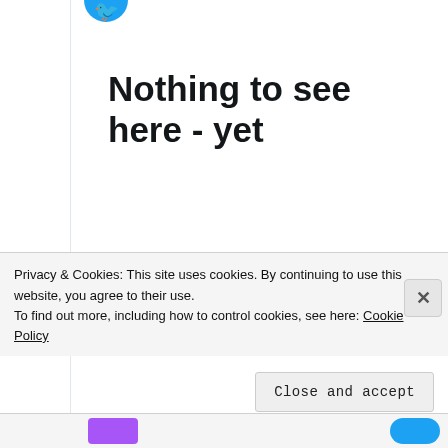[Figure (logo): Twitter bird logo icon in blue, partially visible at top]
Nothing to see here - yet
When they Tweet, their Tweets will show up here.
[Figure (other): Blue rounded button labeled 'View on Twitter']
Privacy & Cookies: This site uses cookies. By continuing to use this website, you agree to their use.
To find out more, including how to control cookies, see here: Cookie Policy
Close and accept